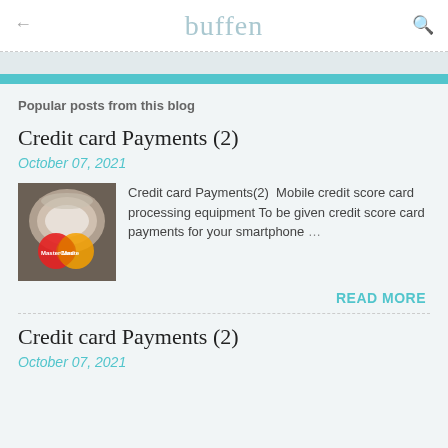buffen
Popular posts from this blog
Credit card Payments (2)
October 07, 2021
[Figure (photo): Close-up photo of MasterCard credit cards]
Credit card Payments(2)  Mobile credit score card processing equipment To be given credit score card payments for your smartphone …
READ MORE
Credit card Payments (2)
October 07, 2021